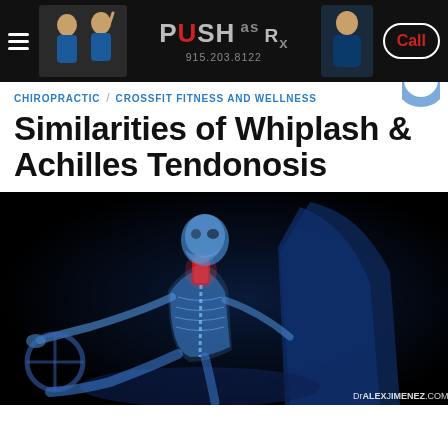PUSH as Rx — 915.203.8122 — Call
CHIROPRACTIC / CROSSFIT FITNESS AND WELLNESS
Similarities of Whiplash & Achilles Tendonosis
[Figure (illustration): 3D medical illustration of a human skeleton seated in a car seat, viewed from the side, with the neck/cervical spine highlighted in red to indicate whiplash injury. The skeleton is rendered in blue translucent style against a black background. Watermark reads DrAlexJimenez.com]